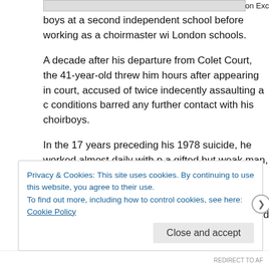Information Exc
boys at a second independent school before working as a choirmaster wi London schools.
A decade after his departure from Colet Court, the 41-year-old threw him hours after appearing in court, accused of twice indecently assaulting a c conditions barred any further contact with his choirboys.
In the 17 years preceding his 1978 suicide, he worked almost daily with p a gifted but weak man, surrounded by temptation.
Doggett was a former pupil of Colet Court and St Paul's who returned to music from 1963 to 1968, having previously taught the cellist Julian Lloyd Under School, the junior division of Westminster School.
A regular guest at the Lloyd Webber household, he became friendly with yd
Privacy & Cookies: This site uses cookies. By continuing to use this website, you agree to their use.
To find out more, including how to control cookies, see here: Cookie Policy
Close and accept